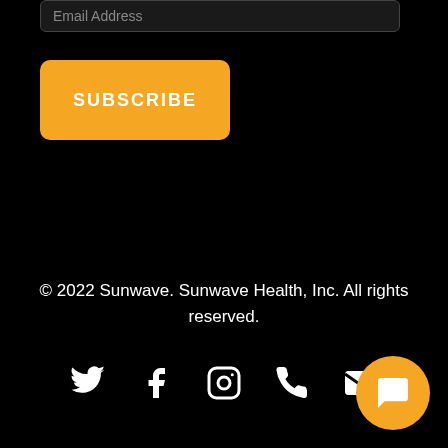Email Address
SUBSCRIBE
© 2022 Sunwave. Sunwave Health, Inc. All rights reserved.
[Figure (infographic): Social media icons: Twitter, Facebook, Instagram, Phone, Email]
[Figure (other): Orange circular chat button with speech bubble icon]